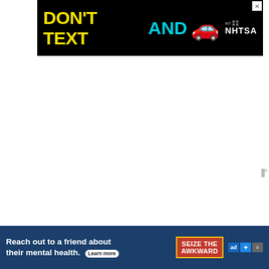[Figure (other): Top advertisement banner: 'DON'T TEXT AND [car emoji]' NHTSA ad on black background with close X button]
However, all these things are just temporary because once he sees he can trust you completely and falls in love with you, he'll never give you any reason to think that way again.
[Figure (other): Heart/like button showing 43 likes and share icon]
[Figure (other): WHAT'S NEXT arrow label with thumbnail and text: How To Make A Scorpio M...]
He'll need a place to vent
[Figure (other): Bottom advertisement banner: 'Reach out to a friend about their mental health. Learn more' - SEIZE THE AWKWARD ad]